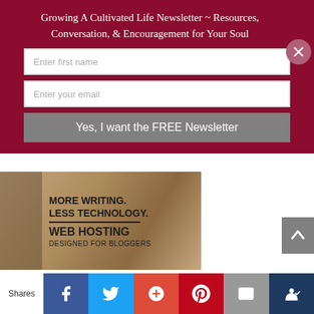Growing A Cultivated Life Newsletter ~ Resources, Conversation, & Encouragement for Your Soul
Enter first name
Enter your email
Yes, I want the FREE Newsletter
[Figure (photo): Web hosting advertisement image showing keyboard/hands in blurred background with text: MORE WRITING. LESS TECHNOLOGY. WEB HOSTING DESIGNED FOR BLOGGERS]
This website uses cookies to improve your experience. We'll assume you're ok with this, but you can opt-out if you wish.
Shares